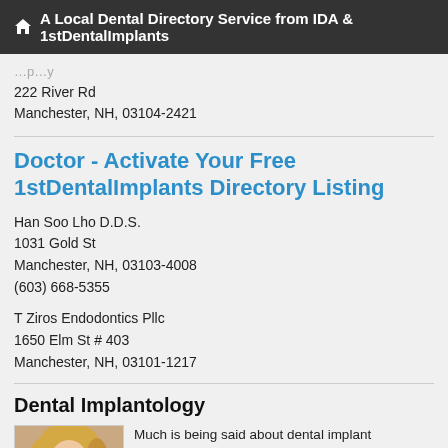A Local Dental Directory Service from IDA & 1stDentalImplants
222 River Rd
Manchester, NH, 03104-2421
Doctor - Activate Your Free 1stDentalImplants Directory Listing
Han Soo Lho D.D.S.
1031 Gold St
Manchester, NH, 03103-4008
(603) 668-5355
T Ziros Endodontics Pllc
1650 Elm St # 403
Manchester, NH, 03101-1217
Dental Implantology
[Figure (photo): Portrait photo of a smiling blonde woman]
Much is being said about dental implant procedures. A national radio spot states that steak and corn-on-the-cob are no longer just a